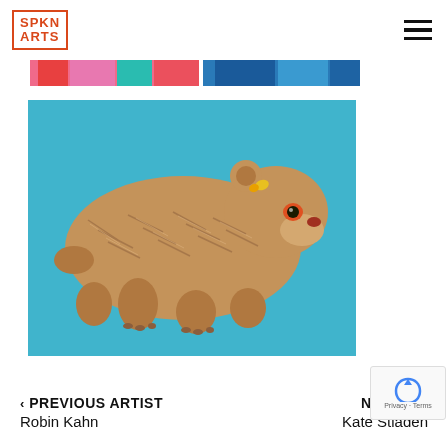SPKN ARTS
[Figure (photo): Horizontal color strip showing partial artwork images — colorful abstract pieces including pink, red, teal, and blue tones]
[Figure (photo): A bear figure made of layered colorful stripes/pencils arranged to form its body, set against a bright turquoise/cyan background]
< PREVIOUS ARTIST
Robin Kahn
NEXT A...
Kate Stiaden